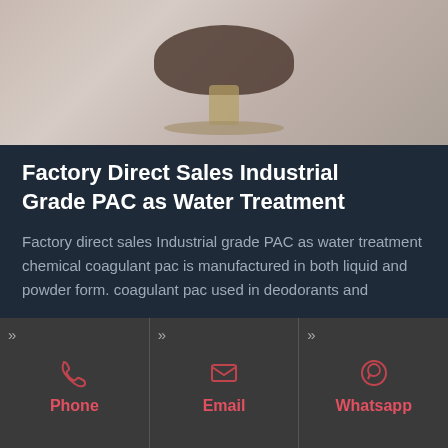[Figure (photo): Close-up photo of a dark mushroom or chemical specimen on a dish/saucer, with a blurred blue-grey background]
Factory Direct Sales Industrial Grade PAC as Water Treatment
Factory direct sales Industrial grade PAC as water treatment chemical coagulant pac is manufactured in both liquid and powder form. coagulant pac used in deodorants and
Phone
Email
Whatsapp